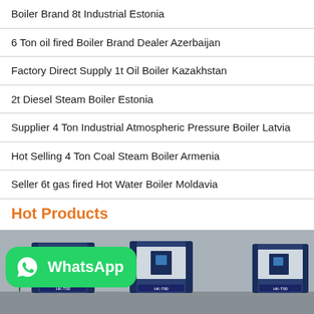Boiler Brand 8t Industrial Estonia
6 Ton oil fired Boiler Brand Dealer Azerbaijan
Factory Direct Supply 1t Oil Boiler Kazakhstan
2t Diesel Steam Boiler Estonia
Supplier 4 Ton Industrial Atmospheric Pressure Boiler Latvia
Hot Selling 4 Ton Coal Steam Boiler Armenia
Seller 6t gas fired Hot Water Boiler Moldavia
Hot Products
[Figure (photo): Industrial boilers (HK-T00, HK-T80, HK-T00 models) displayed side by side against a grey wall background, with a WhatsApp contact badge overlay in the bottom-left corner.]